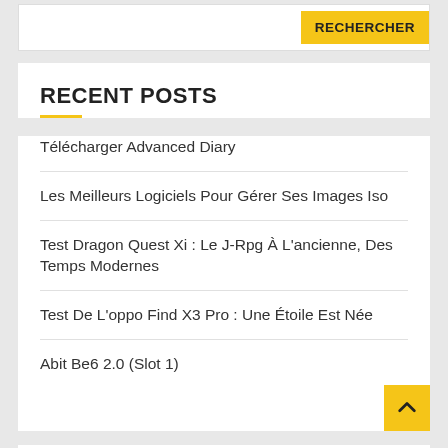[Figure (screenshot): Search widget with text input and yellow RECHERCHER button]
RECENT POSTS
Télécharger Advanced Diary
Les Meilleurs Logiciels Pour Gérer Ses Images Iso
Test Dragon Quest Xi : Le J-Rpg À L'ancienne, Des Temps Modernes
Test De L'oppo Find X3 Pro : Une Étoile Est Née
Abit Be6 2.0 (Slot 1)